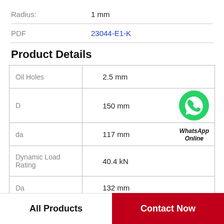| Radius: | 1 mm |
| PDF | 23044-E1-K |
Product Details
| Oil Holes | 2.5 mm |
| D | 150 mm |
| da | 117 mm |
| Dynamic Load Rating | 40.4 kN |
| Da | 132 mm |
All Products
Contact Now